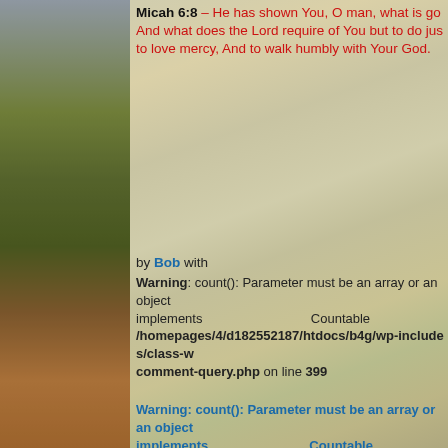[Figure (photo): Landscape background: left side shows a river with tall grasses and dramatic sky; right side shows a soft pastoral river scene with trees, faded/overlaid as a watermark background behind the text content.]
Micah 6:8 – He has shown You, O man, what is good; And what does the Lord require of You but to do justly, to love mercy, And to walk humbly with Your God.
by Bob with
Warning: count(): Parameter must be an array or an object that implements Countable /homepages/4/d182552187/htdocs/b4g/wp-includes/class-wp-comment-query.php on line 399
Warning: count(): Parameter must be an array or an object that implements Countable /homepages/4/d182552187/htdocs/b4g/wp-includes/class-wp-comment-query.php on line 399
no comments yet